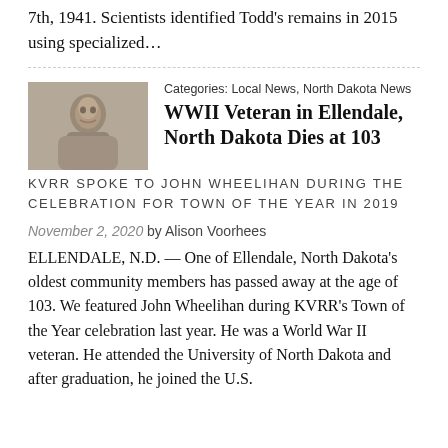7th, 1941. Scientists identified Todd's remains in 2015 using specialized…
[Figure (photo): Black and white photograph of John Wheelihan]
Categories: Local News, North Dakota News
WWII Veteran in Ellendale, North Dakota Dies at 103
KVRR SPOKE TO JOHN WHEELIHAN DURING THE CELEBRATION FOR TOWN OF THE YEAR IN 2019
November 2, 2020 by Alison Voorhees
ELLENDALE, N.D. — One of Ellendale, North Dakota's oldest community members has passed away at the age of 103. We featured John Wheelihan during KVRR's Town of the Year celebration last year. He was a World War II veteran. He attended the University of North Dakota and after graduation, he joined the U.S.